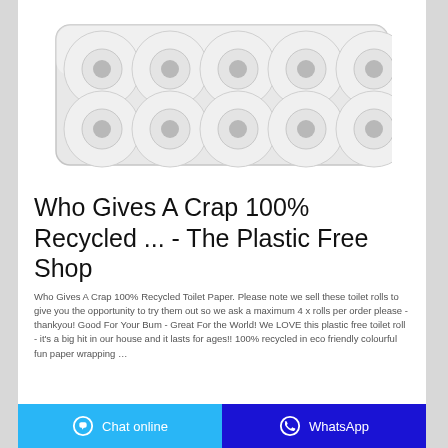[Figure (photo): A pack of 10 white toilet paper rolls arranged in two rows of five, wrapped in clear plastic packaging, viewed from the front.]
Who Gives A Crap 100% Recycled ... - The Plastic Free Shop
Who Gives A Crap 100% Recycled Toilet Paper. Please note we sell these toilet rolls to give you the opportunity to try them out so we ask a maximum 4 x rolls per order please - thankyou! Good For Your Bum - Great For the World! We LOVE this plastic free toilet roll - it's a big hit in our house and it lasts for ages!! 100% recycled in eco friendly colourful fun paper wrapping …